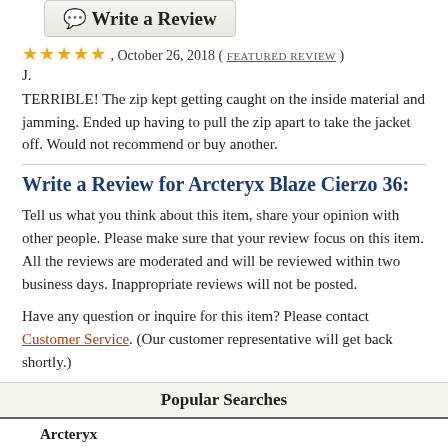[Figure (other): Write a Review button with chat bubble icon]
★★★★★ , October 26, 2018 ( FEATURED REVIEW )
J.
TERRIBLE! The zip kept getting caught on the inside material and jamming. Ended up having to pull the zip apart to take the jacket off. Would not recommend or buy another.
Write a Review for Arcteryx Blaze Cierzo 36:
Tell us what you think about this item, share your opinion with other people. Please make sure that your review focus on this item. All the reviews are moderated and will be reviewed within two business days. Inappropriate reviews will not be posted.
Have any question or inquire for this item? Please contact Customer Service. (Our customer representative will get back shortly.)
Popular Searches
Arcteryx
Arcteryx Jackets
Arcteryx Jackets Women
parka
beta ar jacket